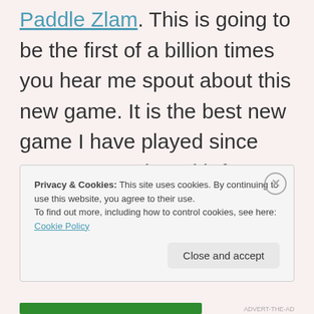Paddle Zlam. This is going to be the first of a billion times you hear me spout about this new game. It is the best new game I have played since Baggo. You play with four paddles, two Paddle Zlam cones, and a pickle ball.
Privacy & Cookies: This site uses cookies. By continuing to use this website, you agree to their use. To find out more, including how to control cookies, see here: Cookie Policy